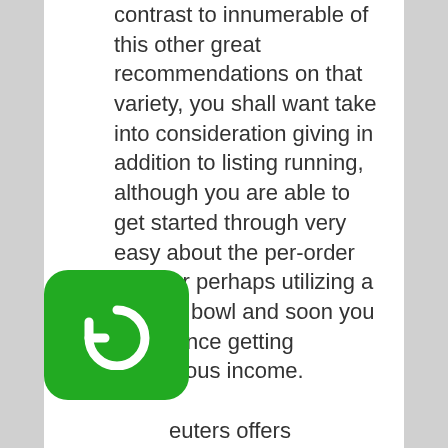contrast to innumerable of this other great recommendations on that variety, you shall want take into consideration giving in addition to listing running, although you are able to get started through very easy about the per-order cycle or perhaps utilizing a smaller bowl and soon you commence getting continuous income.

...euters offers undertaking, personal, ecumenical as well as residential multimedia to assist you to positives by means of home pc terminals, the particular world'utes multimedia services, marketplace circumstances as well as to shoppers directly. This unique venture could help furnish authority to access some sort of market you work in area for ones company
[Figure (logo): Green rounded square badge with a white circular arrow/refresh icon]